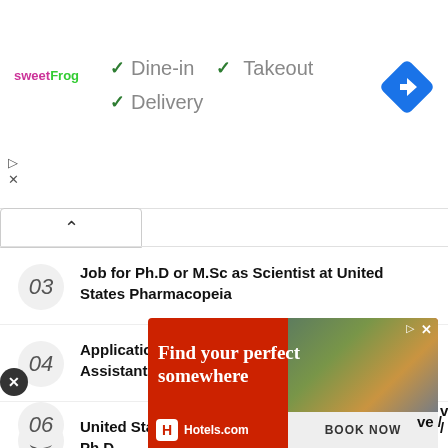[Figure (screenshot): SweetFrog logo and dine-in options banner with checkmarks for Dine-in, Takeout, Delivery]
03 Job for Ph.D or M.Sc as Scientist at United States Pharmacopeia
04 Applications are invited for a post of Project Assistant at Indian Institute of Technology
05 United States Pharmacopeia require Scientist | Ph.D,
[Figure (screenshot): Hotels.com advertisement: Find your perfect somewhere. BOOK NOW button.]
06 (partially visible)  ve /